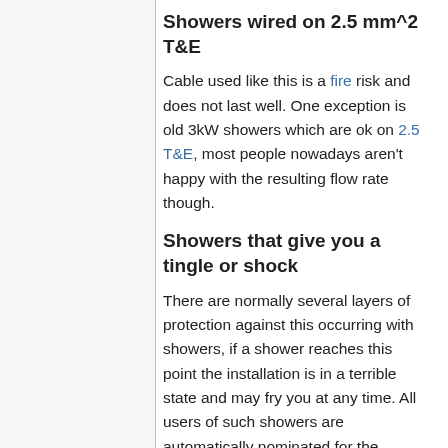Showers wired on 2.5 mm^2 T&E
Cable used like this is a fire risk and does not last well. One exception is old 3kW showers which are ok on 2.5 T&E, most people nowadays aren't happy with the resulting flow rate though.
Showers that give you a tingle or shock
There are normally several layers of protection against this occurring with showers, if a shower reaches this point the installation is in a terrible state and may fry you at any time. All users of such showers are automatically nominated for the prestigious Darwin Award.
Plastic waterpipe earth